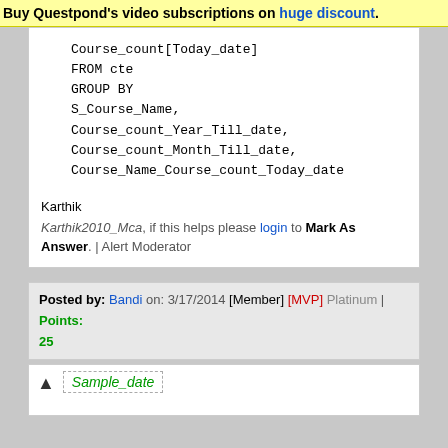Buy Questpond's video subscriptions on huge discount.
Course_count[Today_date]
FROM cte
GROUP BY
S_Course_Name,
Course_count_Year_Till_date,
Course_count_Month_Till_date,
Course_Name_Course_count_Today_date
Karthik
Karthik2010_Mca, if this helps please login to Mark As Answer. | Alert Moderator
Posted by: Bandi on: 3/17/2014 [Member] [MVP] Platinum | Points: 25
Sample_date